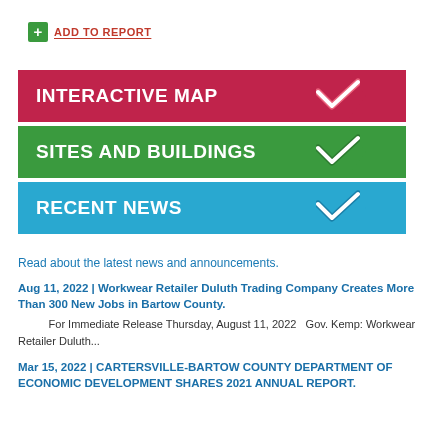ADD TO REPORT
[Figure (infographic): Three banner buttons: Interactive Map (red), Sites and Buildings (green), Recent News (blue), each with a checkmark arrow on the right.]
Read about the latest news and announcements.
Aug 11, 2022 | Workwear Retailer Duluth Trading Company Creates More Than 300 New Jobs in Bartow County.
For Immediate Release Thursday, August 11, 2022   Gov. Kemp: Workwear Retailer Duluth...
Mar 15, 2022 | CARTERSVILLE-BARTOW COUNTY DEPARTMENT OF ECONOMIC DEVELOPMENT SHARES 2021 ANNUAL REPORT.